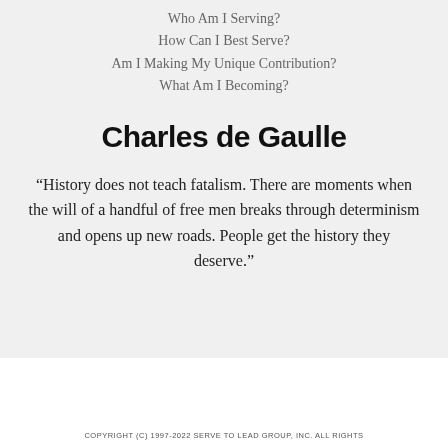Who Am I Serving?
How Can I Best Serve?
Am I Making My Unique Contribution?
What Am I Becoming?
Charles de Gaulle
“History does not teach fatalism. There are moments when the will of a handful of free men breaks through determinism and opens up new roads. People get the history they deserve.”
COPYRIGHT (C) 1997-2022 SERVE TO LEAD GROUP, INC. ALL RIGHTS